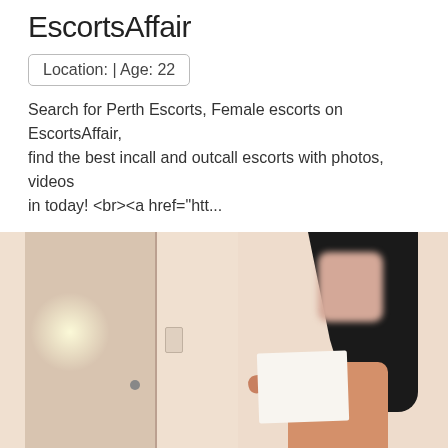EscortsAffair
Location: | Age: 22
Search for Perth Escorts, Female escorts on EscortsAffair, find the best incall and outcall escorts with photos, videos in today! <br><a href="htt...
MORE »»
[Figure (photo): A person with long dark hair holding a white sign, face blurred/pixelated, standing indoors near a door, wearing an orange/coral top.]